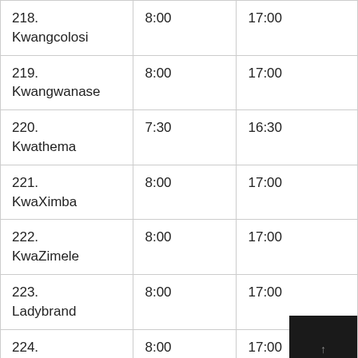| 218.
Kwangcolosi | 8:00 | 17:00 |
| 219.
Kwangwanase | 8:00 | 17:00 |
| 220.
Kwathema | 7:30 | 16:30 |
| 221.
KwaXimba | 8:00 | 17:00 |
| 222.
KwaZimele | 8:00 | 17:00 |
| 223.
Ladybrand | 8:00 | 17:00 |
| 224.
Ladysmith | 8:00 | 17:00 |